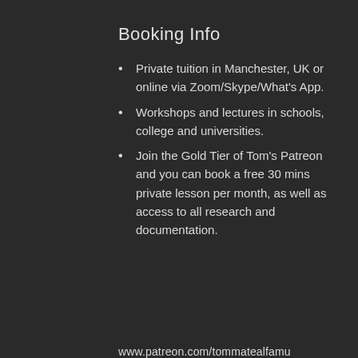Booking Info
Private tuition in Manchester, UK or online via Zoom/Skype/What's App.
Workshops and lectures in schools, college and universities.
Join the Gold Tier of Tom's Patreon and you can book a free 30 mins private lesson per month, as well as access to all research and documentation.
www.patreon.com/tommatealfamu